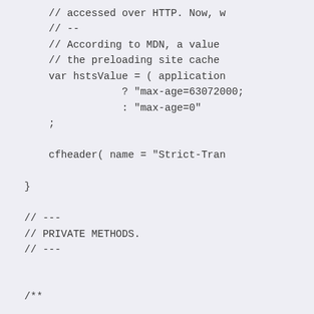// accessed over HTTP. Now, 
// --
// According to MDN, a value
// the preloading site cache
var hstsValue = ( applicatio
            ? "max-age=63072000;
            : "max-age=0"
;

        cfheader( name = "Strict-Tra

    }

    // ---
    // PRIVATE METHODS.
    // ---


    /**